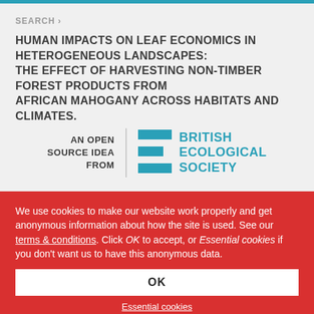SEARCH >
HUMAN IMPACTS ON LEAF ECONOMICS IN HETEROGENEOUS LANDSCAPES: THE EFFECT OF HARVESTING NON-TIMBER FOREST PRODUCTS FROM AFRICAN MAHOGANY ACROSS HABITATS AND CLIMATES.
[Figure (logo): British Ecological Society logo with teal E-shaped icon and text 'AN OPEN SOURCE IDEA FROM' beside 'BRITISH ECOLOGICAL SOCIETY']
We use cookies to make our website work properly and get anonymous information about how the site is used. See our terms & conditions. Click OK to accept, or Essential cookies if you don't want us to have this anonymous data.
OK
Essential cookies